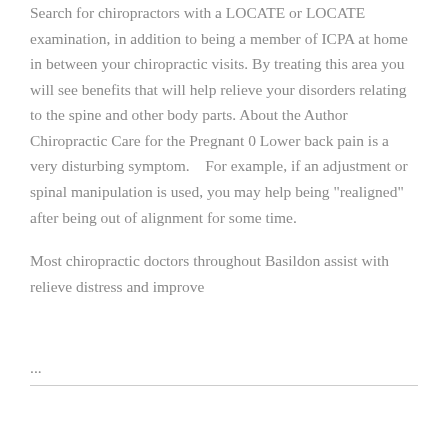Search for chiropractors with a LOCATE or LOCATE examination, in addition to being a member of ICPA at home in between your chiropractic visits. By treating this area you will see benefits that will help relieve your disorders relating to the spine and other body parts. About the Author Chiropractic Care for the Pregnant 0 Lower back pain is a very disturbing symptom.    For example, if an adjustment or spinal manipulation is used, you may help being "realigned" after being out of alignment for some time.
Most chiropractic doctors throughout Basildon assist with relieve distress and improve
...